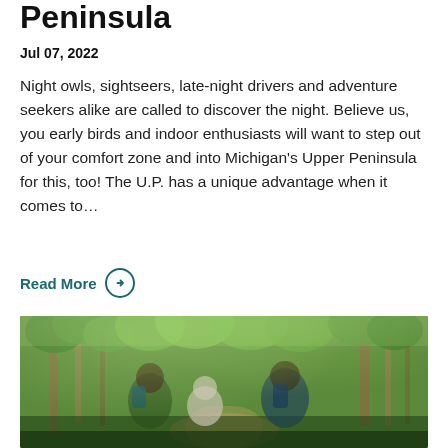Peninsula
Jul 07, 2022
Night owls, sightseers, late-night drivers and adventure seekers alike are called to discover the night. Believe us, you early birds and indoor enthusiasts will want to step out of your comfort zone and into Michigan's Upper Peninsula for this, too! The U.P. has a unique advantage when it comes to…
Read More →
[Figure (photo): Two hikers with backpacks crouching on a forest trail with two dogs, surrounded by green trees]